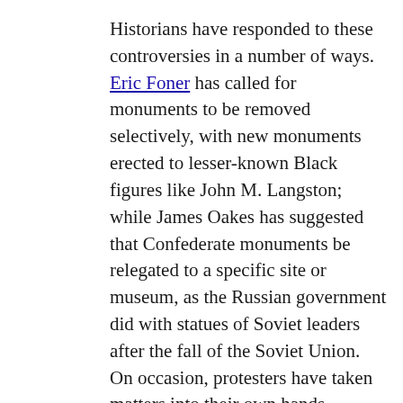Historians have responded to these controversies in a number of ways. Eric Foner has called for monuments to be removed selectively, with new monuments erected to lesser-known Black figures like John M. Langston; while James Oakes has suggested that Confederate monuments be relegated to a specific site or museum, as the Russian government did with statues of Soviet leaders after the fall of the Soviet Union. On occasion, protesters have taken matters into their own hands, destroying the statues of a Confederate soldier on the grounds of the University of North Carolina and a notorious slave trader in Bristol, England. More recently, Scott